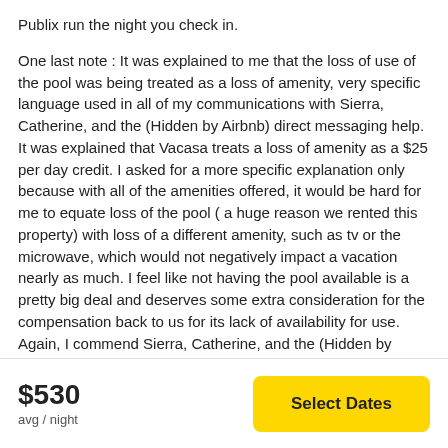Publix run the night you check in.
One last note : It was explained to me that the loss of use of the pool was being treated as a loss of amenity, very specific language used in all of my communications with Sierra, Catherine, and the (Hidden by Airbnb) direct messaging help. It was explained that Vacasa treats a loss of amenity as a $25 per day credit. I asked for a more specific explanation only because with all of the amenities offered, it would be hard for me to equate loss of the pool ( a huge reason we rented this property) with loss of a different amenity, such as tv or the microwave, which would not negatively impact a vacation nearly as much. I feel like not having the pool available is a pretty big deal and deserves some extra consideration for the compensation back to us for its lack of availability for use. Again, I commend Sierra, Catherine, and the (Hidden by Airbnb) help team for timely and intentional communication throughout our experience. I always felt heard and that Vacasa was trying to do right by us as the
$530
avg / night
Select Dates